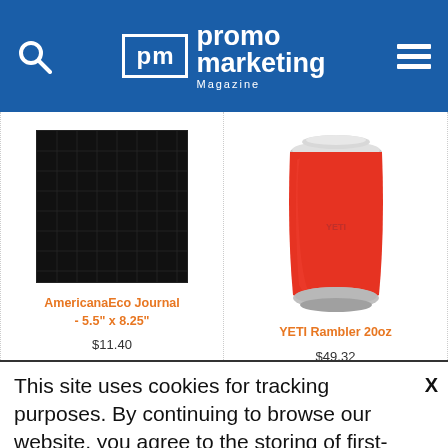Promo Marketing Magazine
[Figure (photo): AmericanaEco Journal product photo - black journal]
AmericanaEco Journal - 5.5" x 8.25"
$11.40
[Figure (photo): YETI Rambler 20oz tumbler in red/orange]
YETI Rambler 20oz
$49.32
This site uses cookies for tracking purposes. By continuing to browse our website, you agree to the storing of first- and third-party cookies on your device to enhance site navigation, analyze site usage, and assist in our marketing and
Accept and Close ✕
Your browser settings do not allow cross-site tracking for advertising. Click on this page to allow AdRoll to use cross-site tracking to tailor ads to you. Learn more or opt out of this AdRoll tracking by clicking here. This message only appears once.